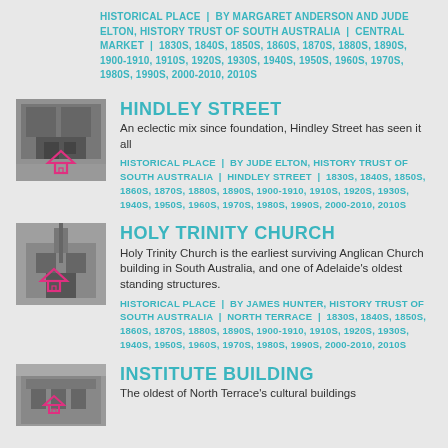HISTORICAL PLACE | BY MARGARET ANDERSON AND JUDE ELTON, HISTORY TRUST OF SOUTH AUSTRALIA | CENTRAL MARKET | 1830S, 1840S, 1850S, 1860S, 1870S, 1880S, 1890S, 1900-1910, 1910S, 1920S, 1930S, 1940S, 1950S, 1960S, 1970S, 1980S, 1990S, 2000-2010, 2010S
HINDLEY STREET
An eclectic mix since foundation, Hindley Street has seen it all
HISTORICAL PLACE | BY JUDE ELTON, HISTORY TRUST OF SOUTH AUSTRALIA | HINDLEY STREET | 1830S, 1840S, 1850S, 1860S, 1870S, 1880S, 1890S, 1900-1910, 1910S, 1920S, 1930S, 1940S, 1950S, 1960S, 1970S, 1980S, 1990S, 2000-2010, 2010S
HOLY TRINITY CHURCH
Holy Trinity Church is the earliest surviving Anglican Church building in South Australia, and one of Adelaide's oldest standing structures.
HISTORICAL PLACE | BY JAMES HUNTER, HISTORY TRUST OF SOUTH AUSTRALIA | NORTH TERRACE | 1830S, 1840S, 1850S, 1860S, 1870S, 1880S, 1890S, 1900-1910, 1910S, 1920S, 1930S, 1940S, 1950S, 1960S, 1970S, 1980S, 1990S, 2000-2010, 2010S
INSTITUTE BUILDING
The oldest of North Terrace's cultural buildings